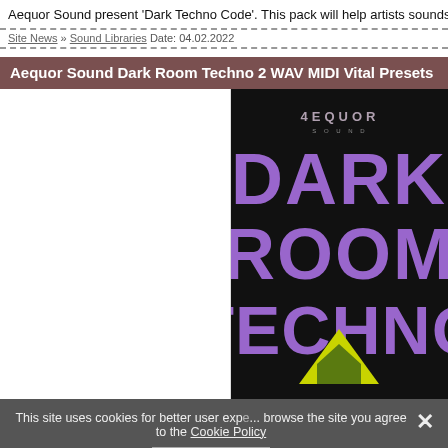Aequor Sound present 'Dark Techno Code'. This pack will help artists sounds. 100% Royalty-Free. After purch
Site News » Sound Libraries Date: 04.02.2022
Aequor Sound Dark Room Techno 2 WAV MIDI Vital Presets
[Figure (photo): Dark Room Techno 2 product cover art by Aequor Sound showing 'DARK ROOM TECHNO' text in large purple letters on a dark/black background with a yellow/green triangle graphic, and the Aequor logo at top]
This site uses cookies for better user exp... browse the site you agree to the Cookie Policy
I AGREE